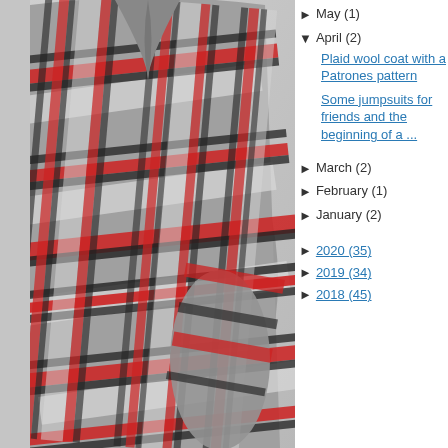[Figure (photo): Back view of a plaid wool coat in grey, red, black and white tartan pattern on a mannequin against a light grey background.]
► May (1)
▼ April (2)
Plaid wool coat with a Patrones pattern
Some jumpsuits for friends and the beginning of a ...
► March (2)
► February (1)
► January (2)
► 2020 (35)
► 2019 (34)
► 2018 (45)